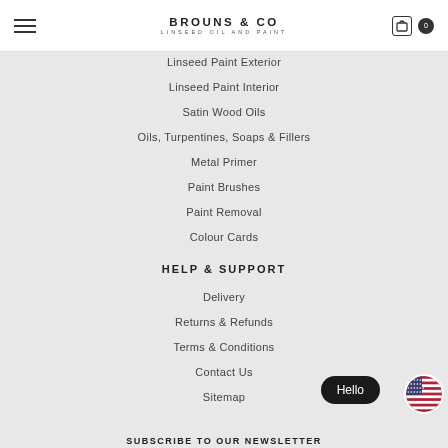BROUNS & CO — Linseed Oil And Paint
Linseed Paint Exterior
Linseed Paint Interior
Satin Wood Oils
Oils, Turpentines, Soaps & Fillers
Metal Primer
Paint Brushes
Paint Removal
Colour Cards
HELP & SUPPORT
Delivery
Returns & Refunds
Terms & Conditions
Contact Us
Sitemap
Hello
SUBSCRIBE TO OUR NEWSLETTER